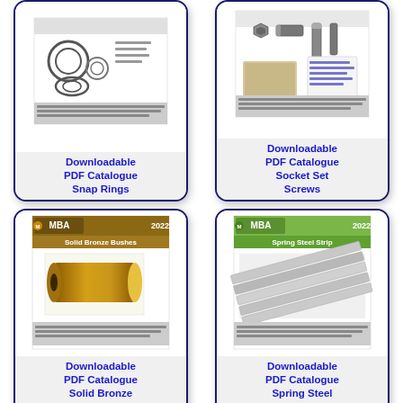[Figure (illustration): Downloadable PDF Catalogue card for Snap Rings showing MBA catalogue cover with snap ring images and search instruction text]
[Figure (illustration): Downloadable PDF Catalogue card for Socket Set Screws showing MBA catalogue cover with socket set screw images and search instruction text]
[Figure (illustration): Downloadable PDF Catalogue card for Solid Bronze Bushes showing MBA 2022.1 catalogue cover with bronze bushing image and search instruction text]
[Figure (illustration): Downloadable PDF Catalogue card for Spring Steel Strip showing MBA 2022.1 catalogue cover with spring steel strip image and search instruction text]